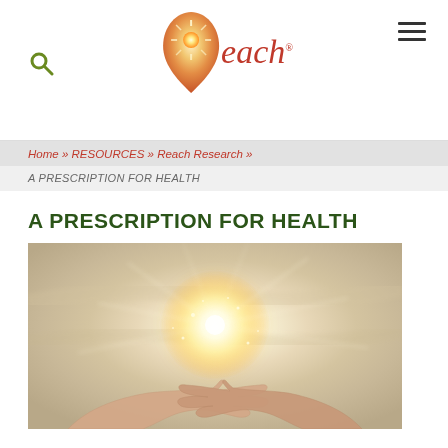[Figure (logo): Reach logo with orange flame/star icon and italic red 'each' text forming 'Reach']
Home » RESOURCES » Reach Research »
A PRESCRIPTION FOR HEALTH
A PRESCRIPTION FOR HEALTH
[Figure (photo): Two open hands cupped together holding a glowing light source, rays of light emanating outward against a warm blurred background.]